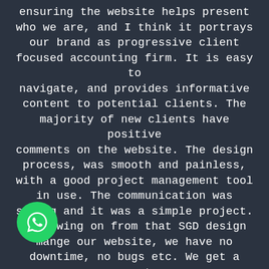ensuring the website helps present who we are, and I think it portrays our brand as progressive client focused accounting firm. It is easy to navigate, and provides informative content to potential clients. The majority of new clients have positive comments on the website. The design process, was smooth and painless, with a good project management tool in use. The communication was strong and it was a simple project. Following on from that SGD design mange our website, we have no downtime, no bugs etc. We get a great monthly report that covers SEO, analytics, performance, security and back ups etc. I think we were lucky to be referred SGD and I would be happy to recommend them for any website and design projects.
[Figure (logo): WhatsApp icon button — green circle with white phone/chat icon]